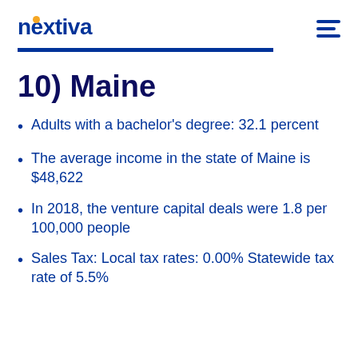nextiva
10) Maine
Adults with a bachelor's degree: 32.1 percent
The average income in the state of Maine is $48,622
In 2018, the venture capital deals were 1.8 per 100,000 people
Sales Tax: Local tax rates: 0.00% Statewide tax rate of 5.5%